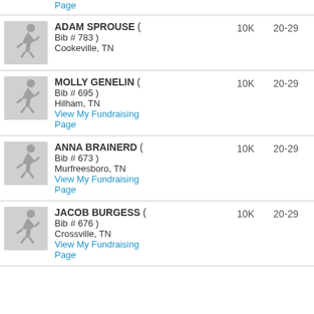View My Fundraising Page (top, partial)
ADAM SPROUSE ( Bib # 783 ) Cookeville, TN | 10K | 20-29
MOLLY GENELIN ( Bib # 695 ) Hilham, TN | View My Fundraising Page | 10K | 20-29
ANNA BRAINERD ( Bib # 673 ) Murfreesboro, TN | View My Fundraising Page | 10K | 20-29
JACOB BURGESS ( Bib # 676 ) Crossville, TN | View My Fundraising Page | 10K | 20-29